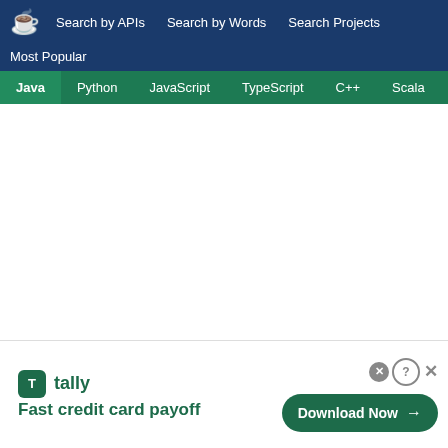Search by APIs  Search by Words  Search Projects
Most Popular
Java  Python  JavaScript  TypeScript  C++  Scala
[Figure (screenshot): Advertisement banner for Tally app. Shows Tally logo with text 'Fast credit card payoff' and a green 'Download Now' button with arrow. Close and help icons visible in top-right.]